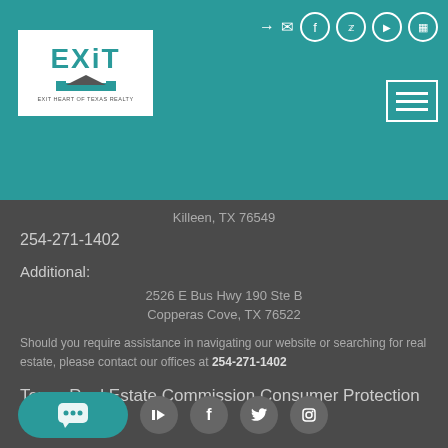[Figure (logo): EXIT Heart of Texas Realty logo — white background, teal EXIT text, house graphic, tagline EXIT HEART OF TEXAS REALTY]
[Figure (infographic): Social media and navigation icons in teal header: arrow, envelope, Facebook, Twitter, YouTube, Instagram circles; hamburger menu button]
Killeen, TX 76549
254-271-1402
Additional:
2526 E Bus Hwy 190 Ste B
Copperas Cove, TX 76522
Should you require assistance in navigating our website or searching for real estate, please contact our offices at 254-271-1402
Texas Real Estate Commission Consumer Protection Notice
[Figure (infographic): Footer row with teal chat bubble button and circular social media icons: YouTube, Facebook, Twitter, Instagram]